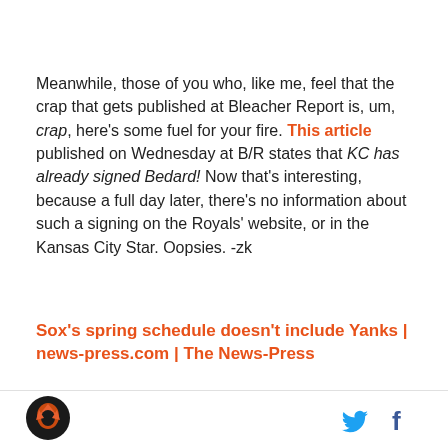Meanwhile, those of you who, like me, feel that the crap that gets published at Bleacher Report is, um, crap, here's some fuel for your fire. This article published on Wednesday at B/R states that KC has already signed Bedard! Now that's interesting, because a full day later, there's no information about such a signing on the Royals' website, or in the Kansas City Star. Oopsies. -zk
Sox's spring schedule doesn't include Yanks | news-press.com | The News-Press
"Sox's spring schedule doesn't include Yanks"
[Figure (logo): Circular logo with dark background featuring an orange bird/falcon graphic]
[Figure (logo): Twitter bird icon in blue]
[Figure (logo): Facebook 'f' icon in blue]